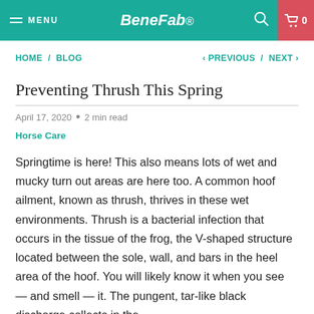MENU | BeneFab | 0
HOME / BLOG < PREVIOUS / NEXT >
Preventing Thrush This Spring
April 17, 2020 • 2 min read
Horse Care
Springtime is here! This also means lots of wet and mucky turn out areas are here too. A common hoof ailment, known as thrush, thrives in these wet environments. Thrush is a bacterial infection that occurs in the tissue of the frog, the V-shaped structure located between the sole, wall, and bars in the heel area of the hoof. You will likely know it when you see — and smell — it. The pungent, tar-like black discharge collects in the